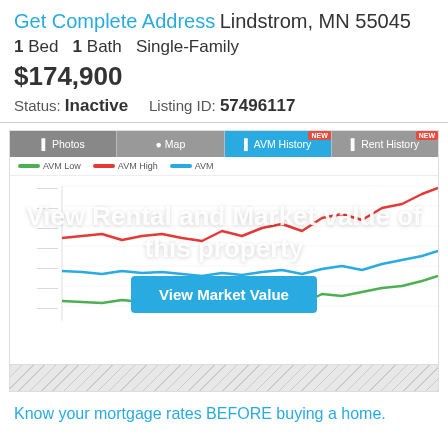Get Complete Address Lindstrom, MN 55045
1 Bed   1 Bath   Single-Family
$174,900
Status: Inactive   Listing ID: 57496117
[Figure (line-chart): AVM History chart showing AVM Low (green), AVM High (red), and AVM (blue) lines over time, with a 'View Rental and Market value of this property' overlay and 'View Market Value' button. Chart is partially blurred/obscured.]
Know your mortgage rates BEFORE buying a home.